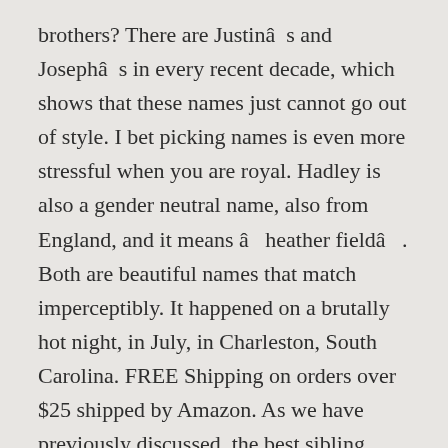brothers? There are Justinâs and Josephâs in every recent decade, which shows that these names just cannot go out of style. I bet picking names is even more stressful when you are royal. Hadley is also a gender neutral name, also from England, and it means âheather fieldâ. Both are beautiful names that match imperceptibly. It happened on a brutally hot night, in July, in Charleston, South Carolina. FREE Shipping on orders over $25 shipped by Amazon. As we have previously discussed, the best sibling names tie together in some way, and Stella and Soren do this subtly through their âSâ sound, but have such different endings that they also appear radically